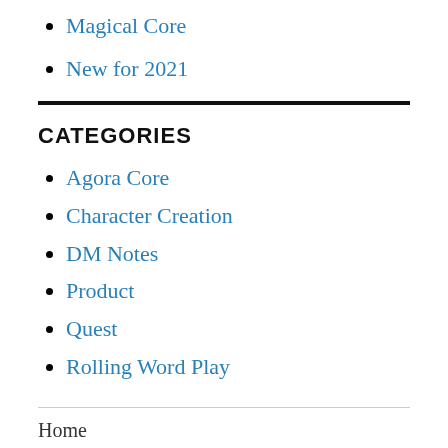Magical Core
New for 2021
CATEGORIES
Agora Core
Character Creation
DM Notes
Product
Quest
Rolling Word Play
Home